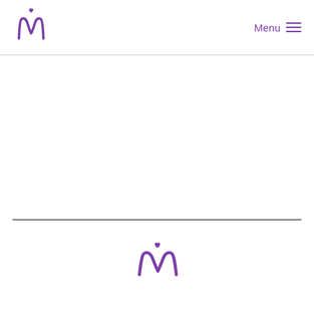Logo mark | Menu
[Figure (logo): Purple stylized 'M' with heart logo in page header top left]
[Figure (logo): Purple 'Menu' text with hamburger lines top right]
[Figure (logo): Centered purple stylized 'M' with heart logo in page footer area]